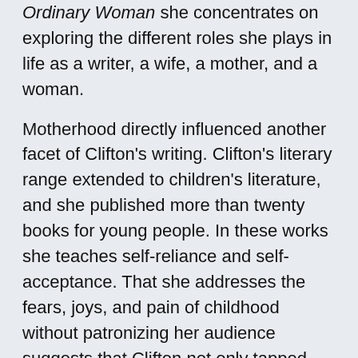Ordinary Woman she concentrates on exploring the different roles she plays in life as a writer, a wife, a mother, and a woman.
Motherhood directly influenced another facet of Clifton's writing. Clifton's literary range extended to children's literature, and she published more than twenty books for young people. In these works she teaches self-reliance and self-acceptance. That she addresses the fears, joys, and pain of childhood without patronizing her audience suggests that Clifton not only tapped her experiences as a mother for literary material but relished them as well.
While domestic life, in addition to writing, absorbed much of Clifton's energies, she also